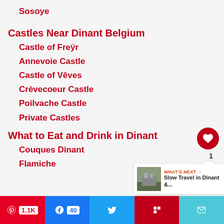Sosoye
Castles Near Dinant Belgium
Castle of Freÿr
Annevoie Castle
Castle of Vêves
Crèvecoeur Castle
Poilvache Castle
Private Castles
What to Eat and Drink in Dinant
Couques Dinant
Flamiche
WHAT'S NEXT → Slow Travel in Dinant &...
1.1K  40